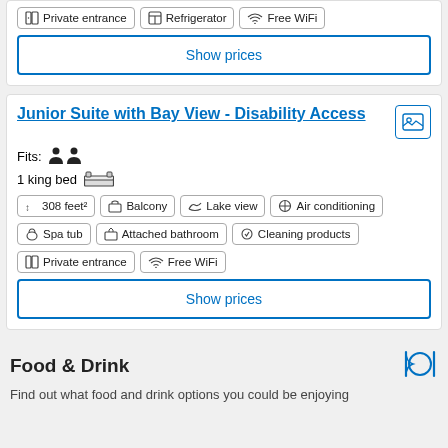Private entrance, Refrigerator, Free WiFi
Show prices
Junior Suite with Bay View - Disability Access
Fits: 2 people
1 king bed
308 feet², Balcony, Lake view, Air conditioning, Spa tub, Attached bathroom, Cleaning products, Private entrance, Free WiFi
Show prices
Food & Drink
Find out what food and drink options you could be enjoying